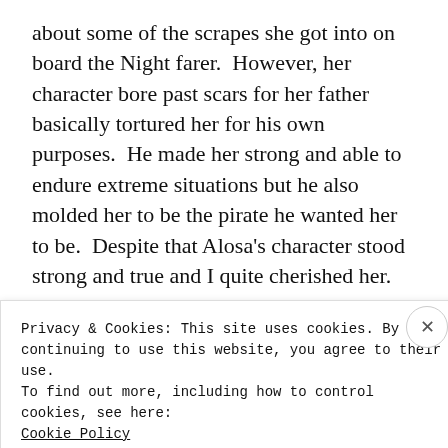about some of the scrapes she got into on board the Night farer.  However, her character bore past scars for her father basically tortured her for his own purposes.  He made her strong and able to endure extreme situations but he also molded her to be the pirate he wanted her to be.  Despite that Alosa's character stood strong and true and I quite cherished her.
Advertisements
[Figure (other): Advertisement banner with purple and dark purple/navy rectangular sections]
Privacy & Cookies: This site uses cookies. By continuing to use this website, you agree to their use.
To find out more, including how to control cookies, see here:
Cookie Policy
Close and accept